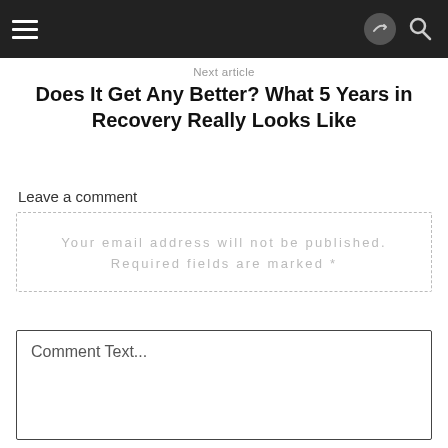Navigation bar with hamburger menu, share icon, and search icon
Next article
Does It Get Any Better? What 5 Years in Recovery Really Looks Like
Leave a comment
Your email address will not be published. Required fields are marked *
Comment Text...